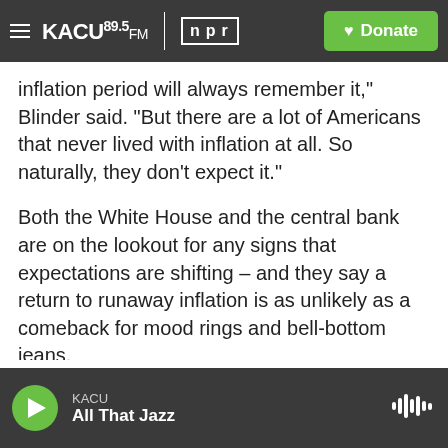KACU 89.5FM | npr | Donate
inflation period will always remember it," Blinder said. "But there are a lot of Americans that never lived with inflation at all. So naturally, they don't expect it."
Both the White House and the central bank are on the lookout for any signs that expectations are shifting – and they say a return to runaway inflation is as unlikely as a comeback for mood rings and bell-bottom jeans.
Copyright 2021 NPR. To see more, visit https://www.npr.org.
KACU | All That Jazz